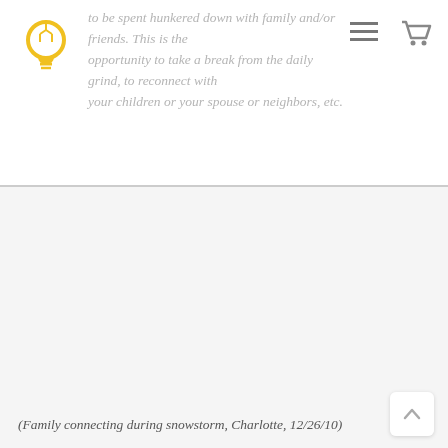to be spent hunkered down with family and/or friends. This is the opportunity to take a break from the daily grind, to reconnect with your children or your spouse or neighbors, etc.
(Family connecting during snowstorm, Charlotte, 12/26/10)
I think this attitude harkens back to “the good old days” of my younger adulthood because today, with computer technology, a snowstorm is no excuse not to “be productive” and work.